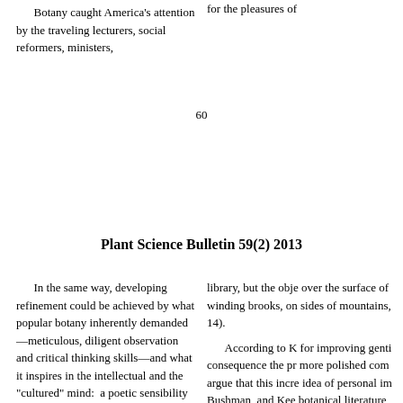Botany caught America’s attention by the traveling lecturers, social reformers, ministers,
for the pleasures of
60
Plant Science Bulletin 59(2) 2013
In the same way, developing refinement could be achieved by what popular botany inherently demanded—meticulous, diligent observation and critical thinking skills—and what it inspires in the intellectual and the “cultured” mind:  a poetic sensibility for the gentler aspects of nature, a sense of order, appreciation of God in general terms of protestant natural theology, exercise, and an appropriate scientific endeavor for young women (Keeney, 1992). Indeed, botany addressed the common and overwhelming 19th-century concerns of female invalidism, which was the thought that women have unusually delicate health and are more prone to illness than men (Wood, 1973). In a culture where being outside was considered hazardous for women, botany opened once-closed doors to explore nature in a socially acceptable manner (though women often traveled with a male
library, but the obje over the surface of winding brooks, on sides of mountains, 14).

According to K for improving genti consequence the pr more polished com argue that this incre idea of personal im Bushman, and Kee botanical literature reading gift books.

These two trend botanical education popularity between of both were literat